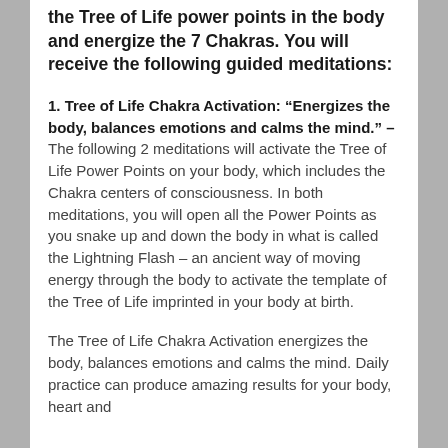the Tree of Life power points in the body and energize the 7 Chakras. You will receive the following guided meditations:
1. Tree of Life Chakra Activation: “Energizes the body, balances emotions and calms the mind.” – The following 2 meditations will activate the Tree of Life Power Points on your body, which includes the Chakra centers of consciousness. In both meditations, you will open all the Power Points as you snake up and down the body in what is called the Lightning Flash – an ancient way of moving energy through the body to activate the template of the Tree of Life imprinted in your body at birth.
The Tree of Life Chakra Activation energizes the body, balances emotions and calms the mind. Daily practice can produce amazing results for your body, heart and